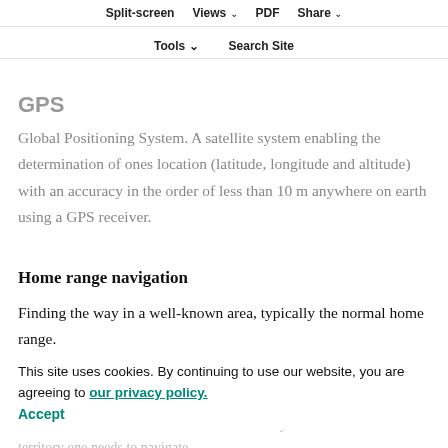Split-screen | Views | PDF | Share | Tools | Search Site
GPS
Global Positioning System. A satellite system enabling the determination of ones location (latitude, longitude and altitude) with an accuracy in the order of less than 10 m anywhere on earth using a GPS receiver.
Home range navigation
Finding the way in a well-known area, typically the normal home range.
Homing
Homing is the process of returning accurately to a known, previously visited location from a distance. To successfully home from unfamiliar territory one needs to navigate
This site uses cookies. By continuing to use our website, you are agreeing to our privacy policy.
Accept